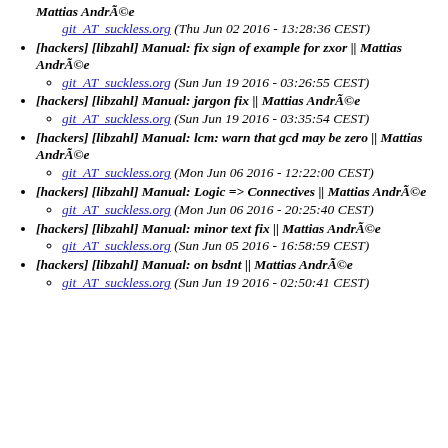Mattias Andréе
git_AT_suckless.org (Thu Jun 02 2016 - 13:28:36 CEST)
[hackers] [libzahl] Manual: fix sign of example for zxor || Mattias Andréе
git_AT_suckless.org (Sun Jun 19 2016 - 03:26:55 CEST)
[hackers] [libzahl] Manual: jargon fix || Mattias Andréе
git_AT_suckless.org (Sun Jun 19 2016 - 03:35:54 CEST)
[hackers] [libzahl] Manual: lcm: warn that gcd may be zero || Mattias Andréе
git_AT_suckless.org (Mon Jun 06 2016 - 12:22:00 CEST)
[hackers] [libzahl] Manual: Logic => Connectives || Mattias Andréе
git_AT_suckless.org (Mon Jun 06 2016 - 20:25:40 CEST)
[hackers] [libzahl] Manual: minor text fix || Mattias Andréе
git_AT_suckless.org (Sun Jun 05 2016 - 16:58:59 CEST)
[hackers] [libzahl] Manual: on bsdnt || Mattias Andréе
git_AT_suckless.org (Sun Jun 19 2016 - 02:50:41 CEST)